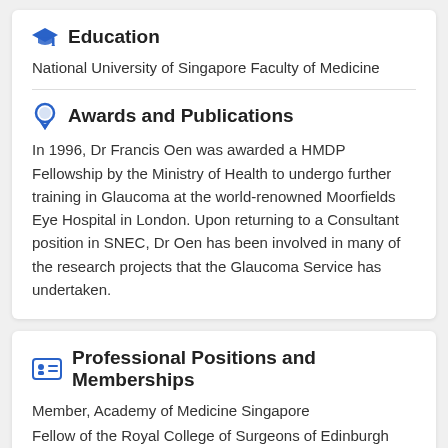Education
National University of Singapore Faculty of Medicine
Awards and Publications
In 1996, Dr Francis Oen was awarded a HMDP Fellowship by the Ministry of Health to undergo further training in Glaucoma at the world-renowned Moorfields Eye Hospital in London. Upon returning to a Consultant position in SNEC, Dr Oen has been involved in many of the research projects that the Glaucoma Service has undertaken.
Professional Positions and Memberships
Member, Academy of Medicine Singapore
Fellow of the Royal College of Surgeons of Edinburgh
Fellow of the Royal College of Ophthalmologist, UK
See more [ + ]